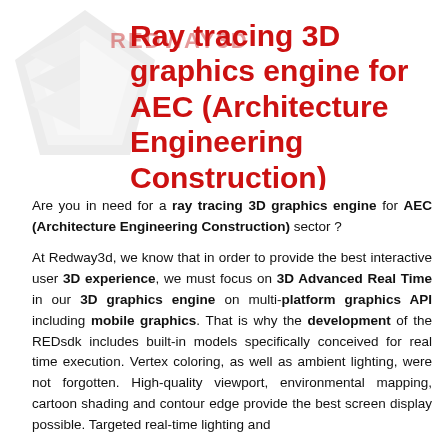[Figure (logo): Redway3D logo: geometric 3D diamond/arrow shape in light gray with REDWAY3D wordmark overlaid]
Ray tracing 3D graphics engine for AEC (Architecture Engineering Construction)
Are you in need for a ray tracing 3D graphics engine for AEC (Architecture Engineering Construction) sector ?
At Redway3d, we know that in order to provide the best interactive user 3D experience, we must focus on 3D Advanced Real Time in our 3D graphics engine on multi-platform graphics API including mobile graphics. That is why the development of the REDsdk includes built-in models specifically conceived for real time execution. Vertex coloring, as well as ambient lighting, were not forgotten. High-quality viewport, environmental mapping, cartoon shading and contour edge provide the best screen display possible. Targeted real-time lighting and